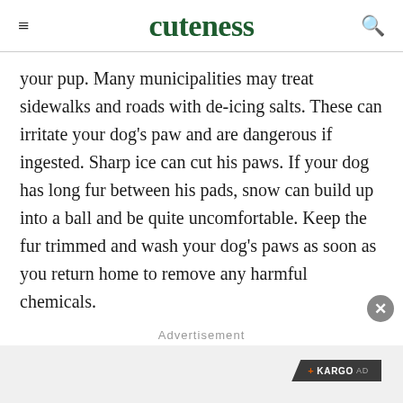cuteness
your pup. Many municipalities may treat sidewalks and roads with de-icing salts. These can irritate your dog's paw and are dangerous if ingested. Sharp ice can cut his paws. If your dog has long fur between his pads, snow can build up into a ball and be quite uncomfortable. Keep the fur trimmed and wash your dog's paws as soon as you return home to remove any harmful chemicals.
Advertisement
[Figure (other): Kargo AD badge on light gray advertisement background area]